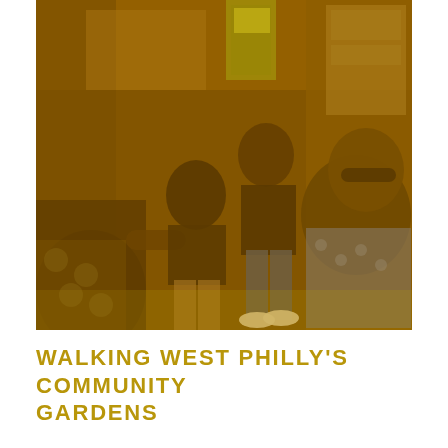[Figure (photo): Outdoor community gathering scene with several people standing and sitting in front of a building. The image has a warm amber/golden color overlay. Women in summer clothing are visible; one wears sunglasses in the foreground. A green and yellow flag or banner is visible in the background.]
WALKING WEST PHILLY'S COMMUNITY GARDENS